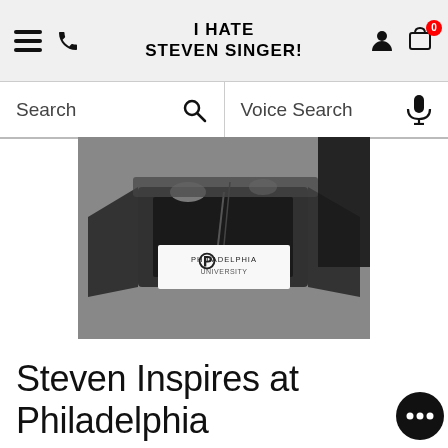I HATE STEVEN SINGER!
Search   Voice Search
[Figure (photo): Black and white photo of a person at a transparent podium with a Philadelphia University banner/sign on it.]
Steven Inspires at Philadelphia University's 132nd Commencement